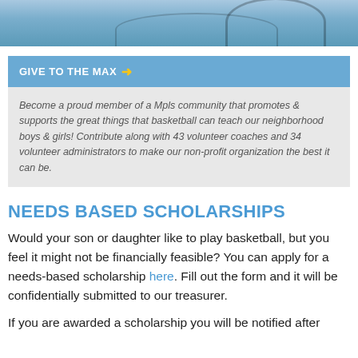[Figure (photo): Aerial or overhead view of a basketball court with blue floor and court lines visible]
GIVE TO THE MAX →
Become a proud member of a Mpls community that promotes & supports the great things that basketball can teach our neighborhood boys & girls! Contribute along with 43 volunteer coaches and 34 volunteer administrators to make our non-profit organization the best it can be.
NEEDS BASED SCHOLARSHIPS
Would your son or daughter like to play basketball, but you feel it might not be financially feasible? You can apply for a needs-based scholarship here. Fill out the form and it will be confidentially submitted to our treasurer.
If you are awarded a scholarship you will be notified after